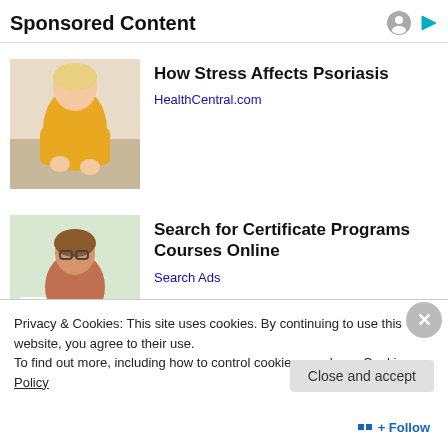Sponsored Content
[Figure (photo): Woman in yellow sweater looking at her arm, likely examining skin condition]
How Stress Affects Psoriasis
HealthCentral.com
[Figure (photo): Woman with glasses and brown top writing at a desk]
Search for Certificate Programs Courses Online
Search Ads
Privacy & Cookies: This site uses cookies. By continuing to use this website, you agree to their use.
To find out more, including how to control cookies, see here: Cookie Policy
Close and accept